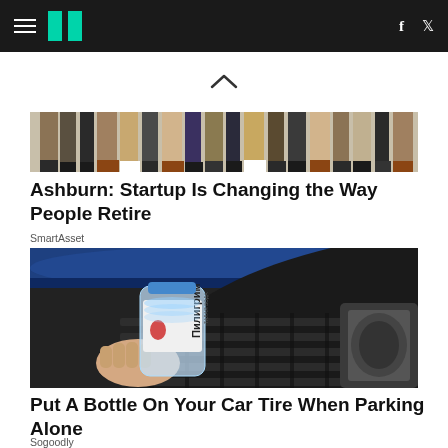HuffPost navigation bar with hamburger menu, logo, facebook and twitter icons
[Figure (photo): Partial photo of people standing, showing only legs and lower bodies]
Ashburn: Startup Is Changing the Way People Retire
SmartAsset
[Figure (photo): Hand holding a plastic water bottle (Pilgrim brand, Russian text) pressed against a blue car tire tread]
Put A Bottle On Your Car Tire When Parking Alone
Sogoodly